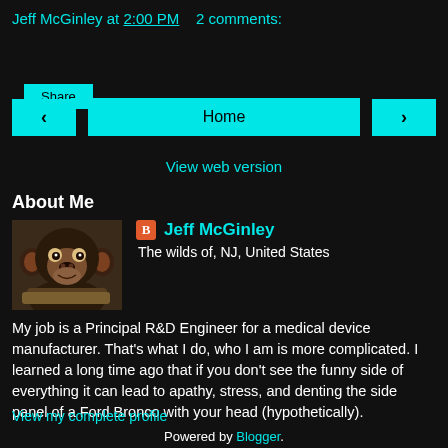Jeff McGinley at 2:00 PM   2 comments:
Share
< Home >
View web version
About Me
[Figure (photo): Profile photo of a chimpanzee resting its chin on a surface, looking at the camera]
Jeff McGinley
The wilds of, NJ, United States
My job is a Principal R&D Engineer for a medical device manufacturer. That's what I do, who I am is more complicated. I learned a long time ago that if you don't see the funny side of everything it can lead to apathy, stress, and denting the side panel of a Ford Bronco with your head (hypothetically).
View my complete profile
Powered by Blogger.